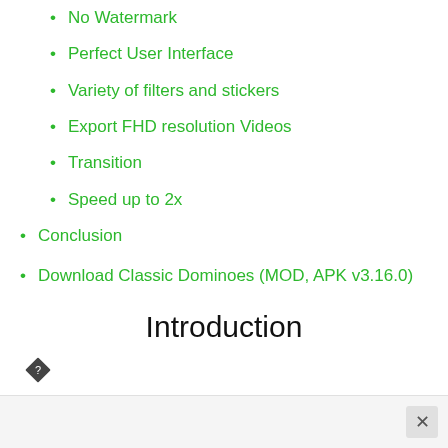No Watermark
Perfect User Interface
Variety of filters and stickers
Export FHD resolution Videos
Transition
Speed up to 2x
Conclusion
Download Classic Dominoes (MOD, APK v3.16.0)
Introduction